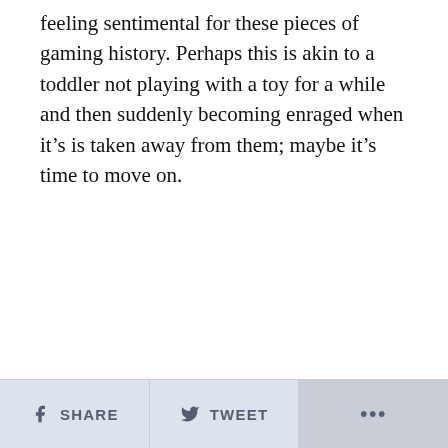feeling sentimental for these pieces of gaming history. Perhaps this is akin to a toddler not playing with a toy for a while and then suddenly becoming enraged when it's is taken away from them; maybe it's time to move on.
SHARE   TWEET   ...